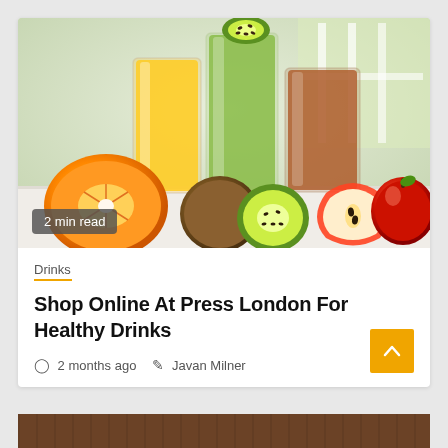[Figure (photo): Photo of fruit juices in tall glasses with fresh fruits: orange, kiwi, and apple arranged on a white surface. Three glasses contain orange juice, green kiwi smoothie, and brown juice respectively. A kiwi slice garnishes the tallest glass.]
2 min read
Drinks
Shop Online At Press London For Healthy Drinks
2 months ago   Javan Milner
[Figure (photo): Partial view of wooden surface/table at the bottom of the page]